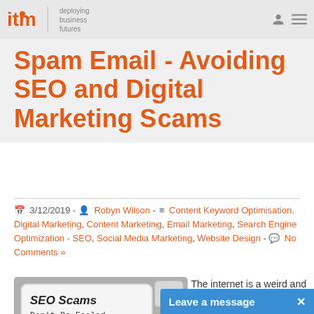itm | deploying business futures
Spam Email - Avoiding SEO and Digital Marketing Scams
3/12/2019 - Robyn Wilson - Content Keyword Optimisation, Digital Marketing, Content Marketing, Email Marketing, Search Engine Optimization - SEO, Social Media Marketing, Website Design - No Comments »
[Figure (photo): Keyboard keys showing 'SEO Scams Don't Be Fooled.' and 'Fraud' text on keys, illustrating SEO and digital marketing fraud]
The internet is a weird and wonderful place. With the right skills, it can be
promote your brand, manage your re